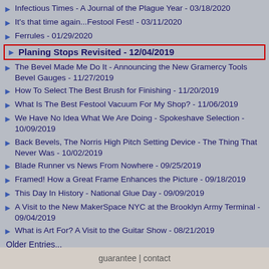Infectious Times - A Journal of the Plague Year - 03/18/2020
It's that time again...Festool Fest! - 03/11/2020
Ferrules - 01/29/2020
Planing Stops Revisited - 12/04/2019
The Bevel Made Me Do It - Announcing the New Gramercy Tools Bevel Gauges - 11/27/2019
How To Select The Best Brush for Finishing - 11/20/2019
What Is The Best Festool Vacuum For My Shop? - 11/06/2019
We Have No Idea What We Are Doing - Spokeshave Selection - 10/09/2019
Back Bevels, The Norris High Pitch Setting Device - The Thing That Never Was - 10/02/2019
Blade Runner vs News From Nowhere - 09/25/2019
Framed! How a Great Frame Enhances the Picture - 09/18/2019
This Day In History - National Glue Day - 09/09/2019
A Visit to the New MakerSpace NYC at the Brooklyn Army Terminal - 09/04/2019
What is Art For? A Visit to the Guitar Show - 08/21/2019
Older Entries...
guarantee | contact